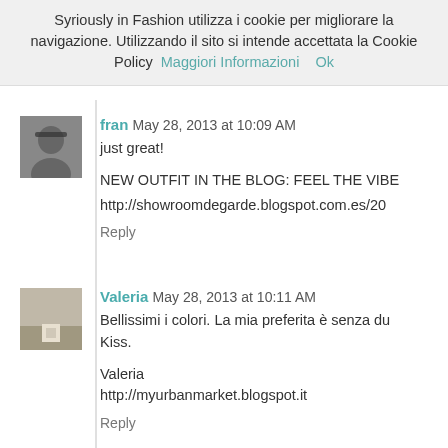Syriously in Fashion utilizza i cookie per migliorare la navigazione. Utilizzando il sito si intende accettata la Cookie Policy  Maggiori Informazioni    Ok
fran May 28, 2013 at 10:09 AM
just great!

NEW OUTFIT IN THE BLOG: FEEL THE VIBE
http://showroomdegarde.blogspot.com.es/20

Reply
Valeria May 28, 2013 at 10:11 AM
Bellissimi i colori. La mia preferita è senza du Kiss.

Valeria
http://myurbanmarket.blogspot.it

Reply